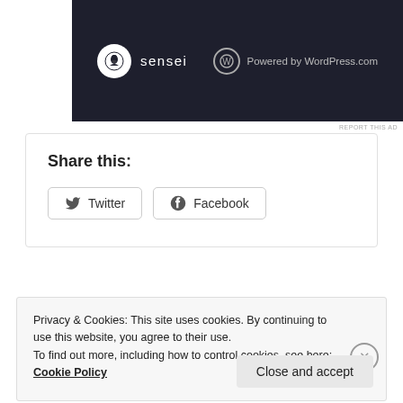[Figure (screenshot): Dark ad banner for Sensei LMS with Sensei logo and 'Powered by WordPress.com' text on dark background]
REPORT THIS AD
Share this:
Twitter  Facebook
Privacy & Cookies: This site uses cookies. By continuing to use this website, you agree to their use.
To find out more, including how to control cookies, see here:
Cookie Policy
Close and accept